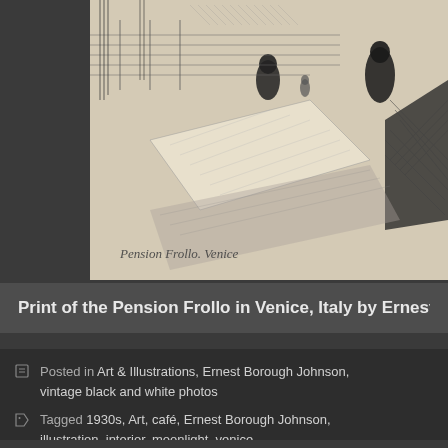[Figure (illustration): A pencil/charcoal sketch of the Pension Frollo in Venice, Italy. The drawing shows an outdoor café or terrace scene with tables covered in white tablecloths, chairs, and figures in the background. The style is loose and impressionistic with cross-hatching. A handwritten signature reading 'Pension Frollo, Venice' appears in the lower left of the sketch.]
Print of the Pension Frollo in Venice, Italy by Ernest Borough Johnson
Posted in Art & Illustrations, Ernest Borough Johnson, vintage black and white photos
Tagged 1930s, Art, café, Ernest Borough Johnson, illustration, interior, moonlight, venice